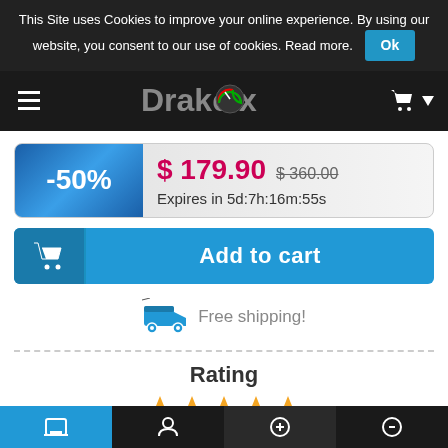This Site uses Cookies to improve your online experience. By using our website, you consent to our use of cookies. Read more. Ok
[Figure (screenshot): DrakeBox website navigation bar with hamburger menu, DrakeBox logo with speedometer gauge icon, and shopping cart icon]
[Figure (infographic): Price discount box showing -50% badge, price $179.90, original price $360.00, expires in 5d:7h:16m:55s]
[Figure (other): Add to cart button with shopping cart icon]
Free shipping!
Rating
[Figure (other): 5 orange star rating icons]
Read reviews (284)  Write a review
[Figure (other): Bottom navigation bar with 4 icon segments]